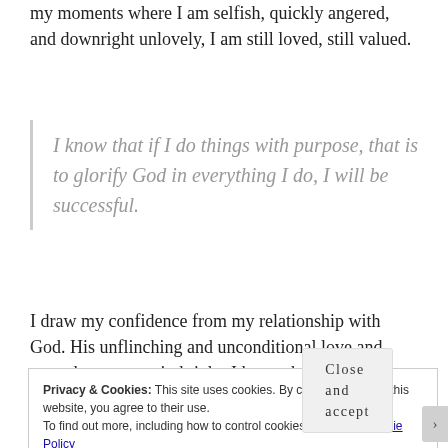my moments where I am selfish, quickly angered, and downright unlovely, I am still loved, still valued.
I know that if I do things with purpose, that is to glorify God in everything I do, I will be successful.
I draw my confidence from my relationship with God. His unflinching and unconditional love and grace keeps my mind right. I know that if I do things with purpose, that is
Privacy & Cookies: This site uses cookies. By continuing to use this website, you agree to their use.
To find out more, including how to control cookies, see here: Cookie Policy
Close and accept